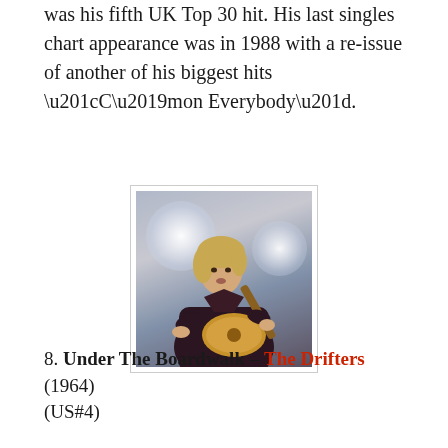was his fifth UK Top 30 hit. His last singles chart appearance was in 1988 with a re-issue of another of his biggest hits “C’mon Everybody”.
[Figure (photo): A young male musician with blonde hair playing an archtop guitar, wearing a dark brown/maroon leather jacket, photographed against a blurred stage light background.]
8. Under The Boardwalk – The Drifters (1964) (US#4)